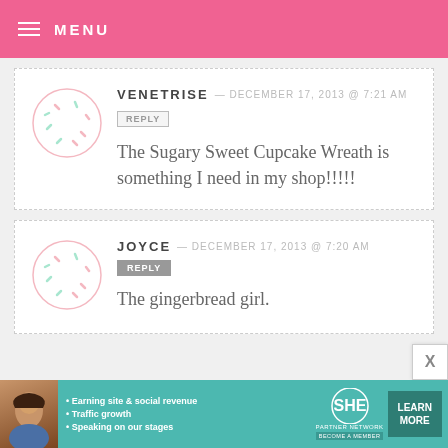MENU
VENETRISE — DECEMBER 17, 2013 @ 7:21 AM
REPLY
The Sugary Sweet Cupcake Wreath is something I need in my shop!!!!!
JOYCE — DECEMBER 17, 2013 @ 7:20 AM
REPLY
The gingerbread girl.
[Figure (infographic): SHE Partner Network advertisement banner with photo of woman, bullet points about earning site & social revenue, traffic growth, speaking on stages, and a Learn More button]